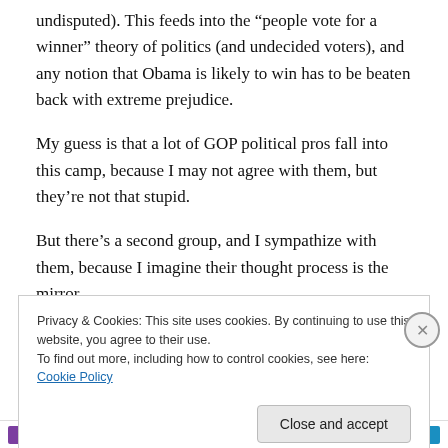undisputed). This feeds into the “people vote for a winner” theory of politics (and undecided voters), and any notion that Obama is likely to win has to be beaten back with extreme prejudice.
My guess is that a lot of GOP political pros fall into this camp, because I may not agree with them, but they’re not that stupid.
But there’s a second group, and I sympathize with them, because I imagine their thought process is the mirror
Privacy & Cookies: This site uses cookies. By continuing to use this website, you agree to their use.
To find out more, including how to control cookies, see here: Cookie Policy